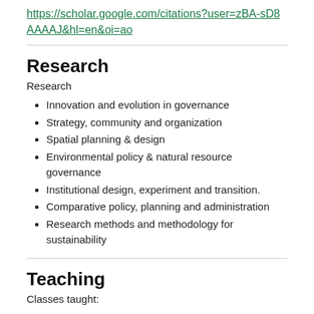https://scholar.google.com/citations?user=zBA-sD8AAAAJ&hl=en&oi=ao
Research
Research
Innovation and evolution in governance
Strategy, community and organization
Spatial planning & design
Environmental policy & natural resource governance
Institutional design, experiment and transition.
Comparative policy, planning and administration
Research methods and methodology for sustainability
Teaching
Classes taught: